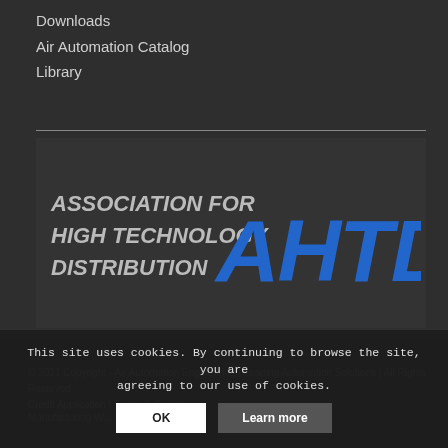Downloads
Air Automation Catalog
Library
[Figure (logo): AHTD - Association for High Technology Distribution logo. White italic text on left reading 'ASSOCIATION FOR HIGH TECHNOLOGY DISTRIBUTION', bold blue italic letters 'AHTD' on right.]
© 2021 Copyright - Air Automation Engineering | Leading Automation Solutions | All Rights Reserved
Credit Application | Terms & Conditions
Manufacturing W...
This site uses cookies. By continuing to browse the site, you are agreeing to our use of cookies.